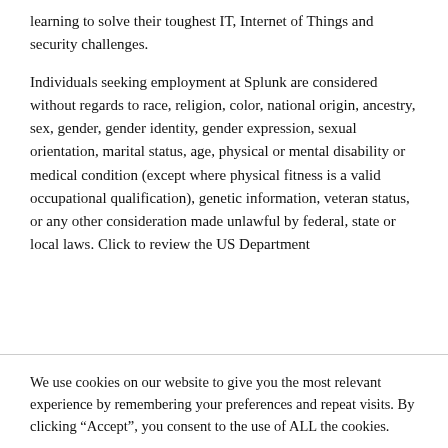learning to solve their toughest IT, Internet of Things and security challenges.
Individuals seeking employment at Splunk are considered without regards to race, religion, color, national origin, ancestry, sex, gender, gender identity, gender expression, sexual orientation, marital status, age, physical or mental disability or medical condition (except where physical fitness is a valid occupational qualification), genetic information, veteran status, or any other consideration made unlawful by federal, state or local laws. Click to review the US Department
We use cookies on our website to give you the most relevant experience by remembering your preferences and repeat visits. By clicking “Accept”, you consent to the use of ALL the cookies.
Cookie settings
ACCEPT